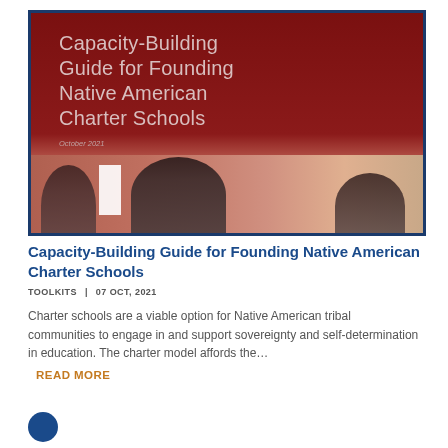[Figure (photo): Cover image of 'Capacity-Building Guide for Founding Native American Charter Schools' dated October 2021, showing a dark red background with white text title and a photo strip of Native American students at the bottom, framed with a dark blue border.]
Capacity-Building Guide for Founding Native American Charter Schools
TOOLKITS  |  07 OCT, 2021
Charter schools are a viable option for Native American tribal communities to engage in and support sovereignty and self-determination in education. The charter model affords the...
READ MORE